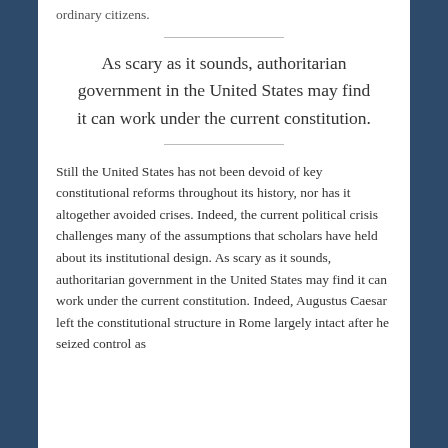ordinary citizens.
As scary as it sounds, authoritarian government in the United States may find it can work under the current constitution.
Still the United States has not been devoid of key constitutional reforms throughout its history, nor has it altogether avoided crises. Indeed, the current political crisis challenges many of the assumptions that scholars have held about its institutional design. As scary as it sounds, authoritarian government in the United States may find it can work under the current constitution. Indeed, Augustus Caesar left the constitutional structure in Rome largely intact after he seized control as